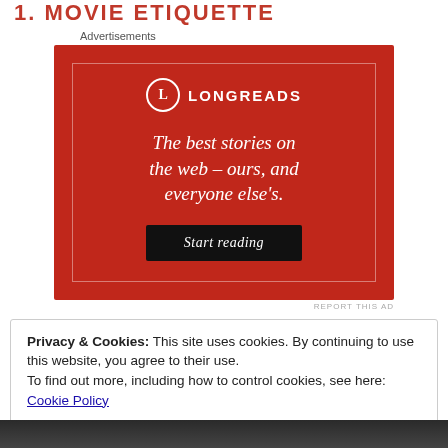1. MOVIE ETIQUETTE
Advertisements
[Figure (advertisement): Longreads advertisement on red background with logo circle containing 'L', brand name 'LONGREADS', tagline 'The best stories on the web – ours, and everyone else's.' and a dark 'Start reading' button]
REPORT THIS AD
Privacy & Cookies: This site uses cookies. By continuing to use this website, you agree to their use.
To find out more, including how to control cookies, see here: Cookie Policy
Close and accept
[Figure (photo): Partial image visible at bottom of page]